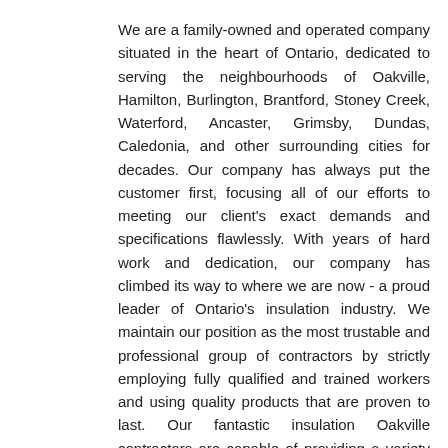We are a family-owned and operated company situated in the heart of Ontario, dedicated to serving the neighbourhoods of Oakville, Hamilton, Burlington, Brantford, Stoney Creek, Waterford, Ancaster, Grimsby, Dundas, Caledonia, and other surrounding cities for decades. Our company has always put the customer first, focusing all of our efforts to meeting our client's exact demands and specifications flawlessly. With years of hard work and dedication, our company has climbed its way to where we are now - a proud leader of Ontario's insulation industry. We maintain our position as the most trustable and professional group of contractors by strictly employing fully qualified and trained workers and using quality products that are proven to last. Our fantastic insulation Oakville contractors are capable of providing a variety of such exemplary attic services as:
Attic insulation
Attic ventilation
Blown-in insulation
Insulation removal